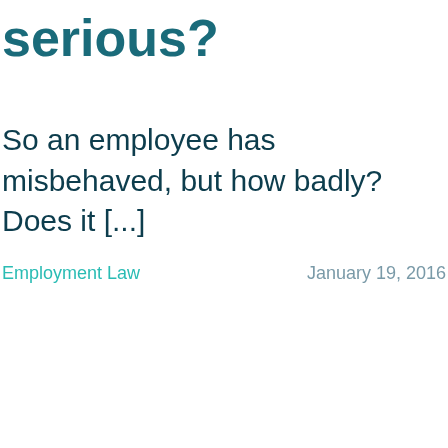serious?
So an employee has misbehaved, but how badly? Does it [...]
Employment Law
January 19, 2016